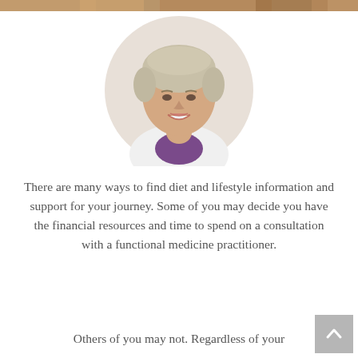[Figure (photo): Partial strip of a group photo visible at the very top of the page]
[Figure (photo): Circular cropped portrait photo of a middle-aged woman with short silver-blonde hair, wearing a white coat over a purple top, smiling, on a light background]
There are many ways to find diet and lifestyle information and support for your journey. Some of you may decide you have the financial resources and time to spend on a consultation with a functional medicine practitioner.
Others of you may not. Regardless of your